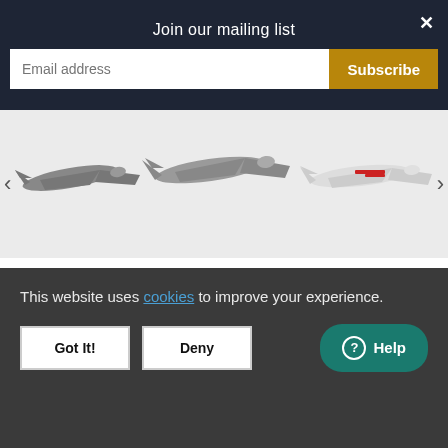Join our mailing list
[Figure (screenshot): Email subscription input field with placeholder 'Email address' and a gold 'Subscribe' button]
[Figure (photo): Carousel of three RC fixed-wing FPV planes (gray/white colorways) on white background with left/right navigation arrows]
HEEWING T-1 RANGER DUAL MOTOR 730MM FPV PLANE KIT
$109.00
No reviews
This website uses cookies to improve your experience.
Got It!
Deny
Help